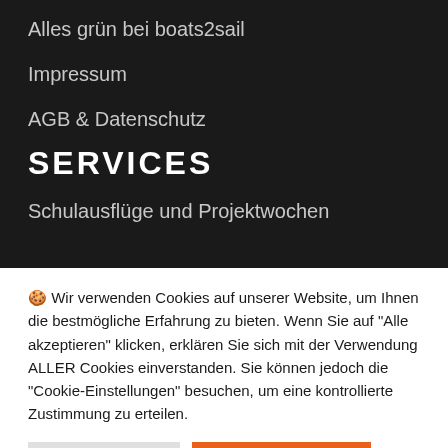Alles grün bei boats2sail
Impressum
AGB & Datenschutz
SERVICES
Schulausflüge und Projektwochen
🍪 Wir verwenden Cookies auf unserer Website, um Ihnen die bestmögliche Erfahrung zu bieten. Wenn Sie auf "Alle akzeptieren" klicken, erklären Sie sich mit der Verwendung ALLER Cookies einverstanden. Sie können jedoch die "Cookie-Einstellungen" besuchen, um eine kontrollierte Zustimmung zu erteilen.
Einstellungen | Alle Akzeptieren